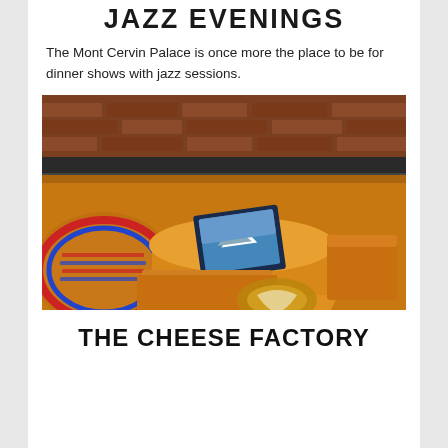JAZZ EVENINGS
The Mont Cervin Palace is once more the place to be for dinner shows with jazz sessions.
[Figure (photo): A display of various cheese wheels, wedges, and blocks arranged on a counter with a brick background. A round wheel of appenzeller-style cheese with red and blue label is visible on the left, and several orange/yellow cheese pieces fill the foreground. A photo/postcard showing a mountain scene is propped among the cheeses.]
THE CHEESE FACTORY